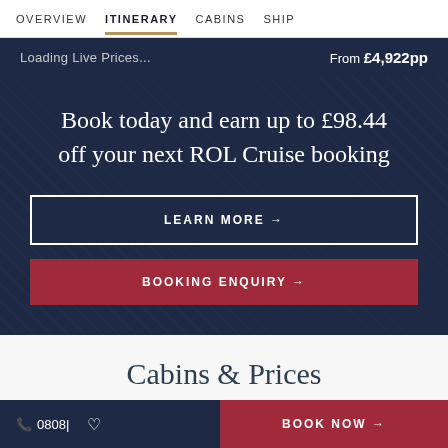OVERVIEW  ITINERARY  CABINS  SHIP
Loading Live Prices...  From £4,922pp
Book today and earn up to £98.44 off your next ROL Cruise booking
LEARN MORE →
BOOKING ENQUIRY →
Cabins & Prices
📞 0808 | ♡   BOOK NOW →